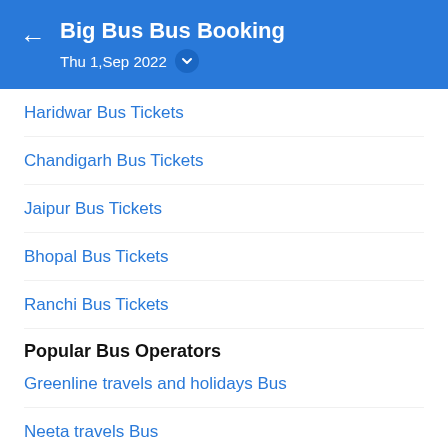Big Bus Bus Booking
Thu 1,Sep 2022
Haridwar Bus Tickets
Chandigarh Bus Tickets
Jaipur Bus Tickets
Bhopal Bus Tickets
Ranchi Bus Tickets
Popular Bus Operators
Greenline travels and holidays Bus
Neeta travels Bus
Hans travels Bus
Shrinath® travel agency pvt. ltd. Bus
A p tourism (bhadradri tours & travels) Bus
Kaveri travels Bus